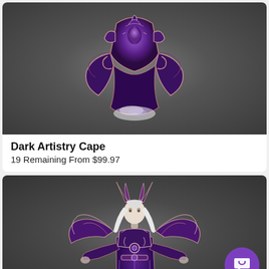[Figure (illustration): Dark fantasy cape item - a dark purple armored cape with wing-like extensions and arcane decorations, shown on a gray gradient background]
Dark Artistry Cape
19 Remaining From $99.97
[Figure (illustration): Dark fantasy character - a pale wizard with long white hair wearing an elaborate dark purple and rose gold armored robe with large wing-like shoulder decorations, shown on a gray gradient background. A purple chat support button is visible in the lower right corner.]